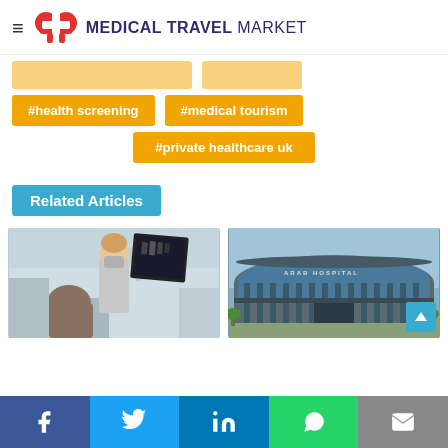MEDICAL TRAVEL MARKET
#health screening
#medical tourism
#private healthcare uk
Related Articles
[Figure (photo): Healthcare worker in mask showing X-ray to elderly patient in dental/medical chair]
[Figure (photo): Exterior of a modern hospital building with glass facade, labeled ARAB HOSPITAL]
Social share bar: Facebook, Twitter, LinkedIn, WhatsApp, Email